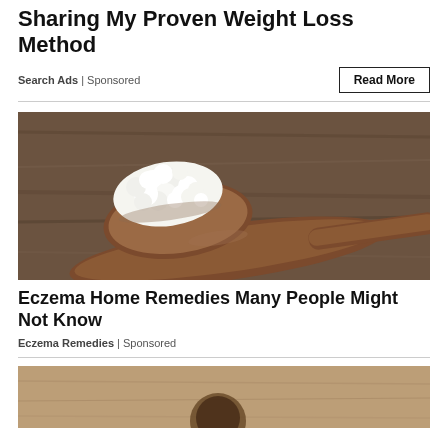Sharing My Proven Weight Loss Method
Search Ads | Sponsored
[Figure (photo): A wooden spoon holding white cottage cheese or kefir grains against a rustic wooden background.]
Eczema Home Remedies Many People Might Not Know
Eczema Remedies | Sponsored
[Figure (photo): Partial view of a second article image, appears to be a food or health-related photo on a sandy/brown background.]